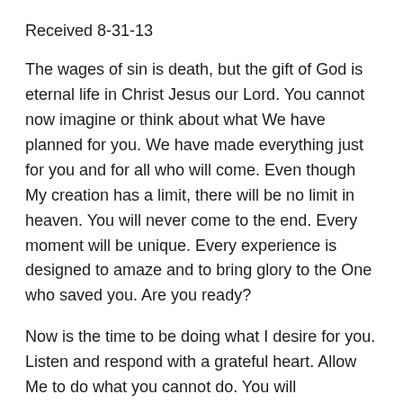Received 8-31-13
The wages of sin is death, but the gift of God is eternal life in Christ Jesus our Lord. You cannot now imagine or think about what We have planned for you. We have made everything just for you and for all who will come. Even though My creation has a limit, there will be no limit in heaven. You will never come to the end. Every moment will be unique. Every experience is designed to amaze and to bring glory to the One who saved you. Are you ready?
Now is the time to be doing what I desire for you. Listen and respond with a grateful heart. Allow Me to do what you cannot do. You will experience My glory here on earth.
Received 9-1-13